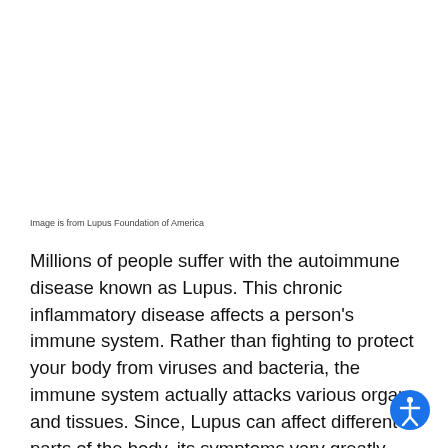Image is from Lupus Foundation of America
Millions of people suffer with the autoimmune disease known as Lupus. This chronic inflammatory disease affects a person's immune system. Rather than fighting to protect your body from viruses and bacteria, the immune system actually attacks various organs and tissues. Since, Lupus can affect different parts of the body, its symptoms vary greatly from person to person. The intensity of these symptoms also varies greatly, but most people experience flares, which will worsen and improve randomly.